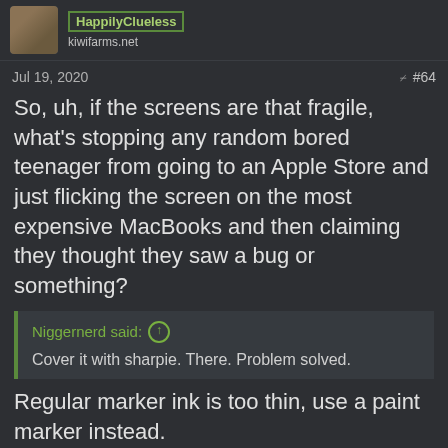kiwifarms.net
Jul 19, 2020  #64
So, uh, if the screens are that fragile, what's stopping any random bored teenager from going to an Apple Store and just flicking the screen on the most expensive MacBooks and then claiming they thought they saw a bug or something?
Niggernerd said: ↑
Cover it with sharpie. There. Problem solved.
Regular marker ink is too thin, use a paint marker instead.
Last edited: Jul 19, 2020
Niggernerd
TFT-A9
55 tons of Lyran fun